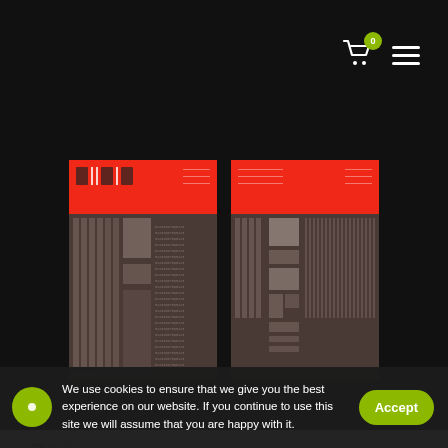Navigation bar with cart (0 items) and menu
[Figure (illustration): Two design posters side by side on dark background. Each poster has a red top band with text/logo and a dark brown body filled with vertical lines, grids, and typographic pattern elements.]
Type:
Type is the key role to achieving the fluid state of recognition. Consistent type usage on different grids keeps the "fun" aspect of
We use cookies to ensure that we give you the best experience on our website. If you continue to use this site we will assume that you are happy with it.